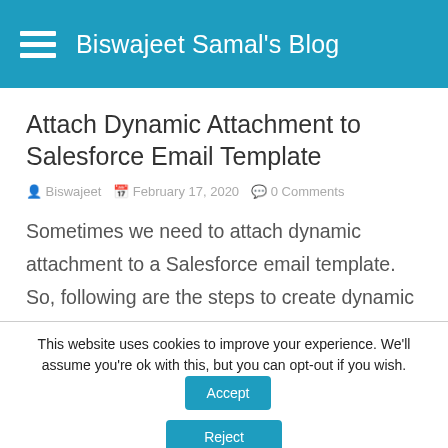Biswajeet Samal's Blog
Attach Dynamic Attachment to Salesforce Email Template
Biswajeet  February 17, 2020  0 Comments
Sometimes we need to attach dynamic attachment to a Salesforce email template. So, following are the steps to create dynamic
This website uses cookies to improve your experience. We'll assume you're ok with this, but you can opt-out if you wish.
Accept
Reject